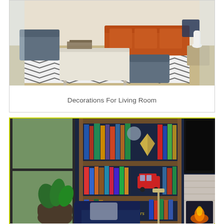[Figure (photo): Living room interior with orange sofa, gray armchairs, white coffee table, and black-and-white chevron rug]
Decorations For Living Room
[Figure (photo): Library/study room with navy blue walls, wooden bookshelves filled with books, navy leather armchair, plant, and fireplace]